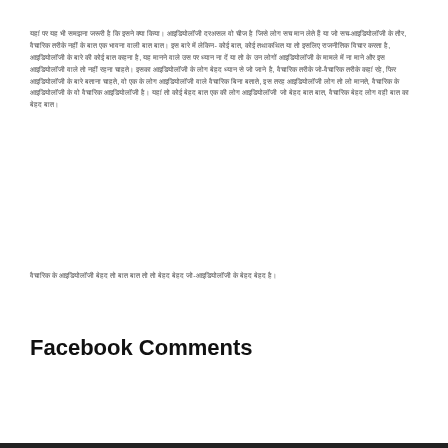Hindi text paragraph 1 (rendered in Hindi/Devanagari script)
Hindi text paragraph 2 (rendered in Hindi/Devanagari script)
Facebook Comments